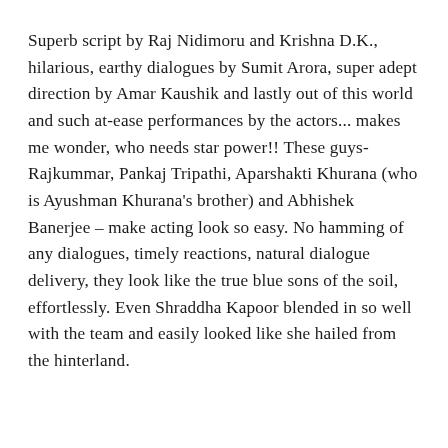Superb script by Raj Nidimoru and Krishna D.K., hilarious, earthy dialogues by Sumit Arora, super adept direction by Amar Kaushik and lastly out of this world and such at-ease performances by the actors... makes me wonder, who needs star power!! These guys- Rajkummar, Pankaj Tripathi, Aparshakti Khurana (who is Ayushman Khurana's brother) and Abhishek Banerjee – make acting look so easy. No hamming of any dialogues, timely reactions, natural dialogue delivery, they look like the true blue sons of the soil, effortlessly. Even Shraddha Kapoor blended in so well with the team and easily looked like she hailed from the hinterland.